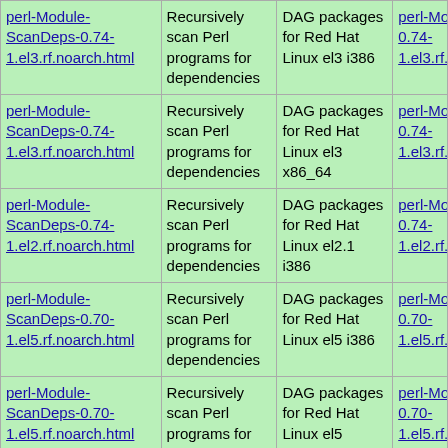| Package | Description | Distribution | RPM |
| --- | --- | --- | --- |
| perl-Module-ScanDeps-0.74-1.el3.rf.noarch.html | Recursively scan Perl programs for dependencies | DAG packages for Red Hat Linux el3 i386 | perl-Module-0.74-1.el3.rf.noarc |
| perl-Module-ScanDeps-0.74-1.el3.rf.noarch.html | Recursively scan Perl programs for dependencies | DAG packages for Red Hat Linux el3 x86_64 | perl-Module-0.74-1.el3.rf.noarc |
| perl-Module-ScanDeps-0.74-1.el2.rf.noarch.html | Recursively scan Perl programs for dependencies | DAG packages for Red Hat Linux el2.1 i386 | perl-Module-0.74-1.el2.rf.noarc |
| perl-Module-ScanDeps-0.70-1.el5.rf.noarch.html | Recursively scan Perl programs for dependencies | DAG packages for Red Hat Linux el5 i386 | perl-Module-0.70-1.el5.rf.noarc |
| perl-Module-ScanDeps-0.70-1.el5.rf.noarch.html | Recursively scan Perl programs for dependencies | DAG packages for Red Hat Linux el5 x86_64 | perl-Module-0.70-1.el5.rf.noarc |
| perl-Module-ScanDeps-0.70-1.el4.rf.noarch.html | Recursively scan Perl programs for dependencies | DAG packages for Red Hat Linux el4 i386 | perl-Module-0.70-1.el4.rf.noarc |